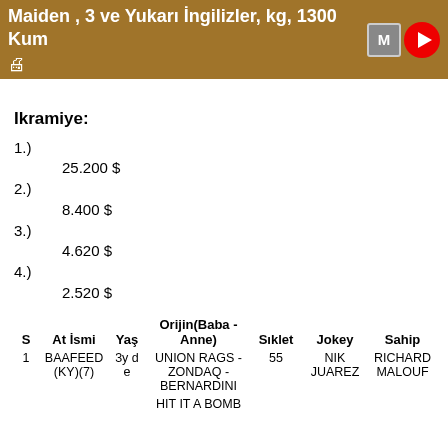Maiden , 3 ve Yukarı İngilizler, kg, 1300 Kum
Ikramiye:
1.) 25.200 $
2.) 8.400 $
3.) 4.620 $
4.) 2.520 $
| S | At İsmi | Yaş | Orijin(Baba - Anne) | Sıklet | Jokey | Sahip |
| --- | --- | --- | --- | --- | --- | --- |
| 1 | BAAFEED (KY)(7) | 3y d e | UNION RAGS - ZONDAQ - BERNARDINI | 55 | NIK JUAREZ | RICHARD MALOUF |
|  |  |  | HIT IT A BOMB |  |  |  |